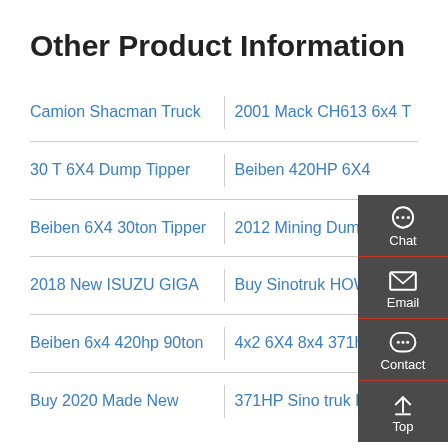Other Product Information
Camion Shacman Truck
2001 Mack CH613 6x4 T
30 T 6X4 Dump Tipper
Beiben 420HP 6X4
Beiben 6X4 30ton Tipper
2012 Mining Dump Truck
2018 New ISUZU GIGA
Buy Sinotruk HOWO
Beiben 6x4 420hp 90ton
4x2 6X4 8x4 371hp
Buy 2020 Made New
371HP Sino truk Howo